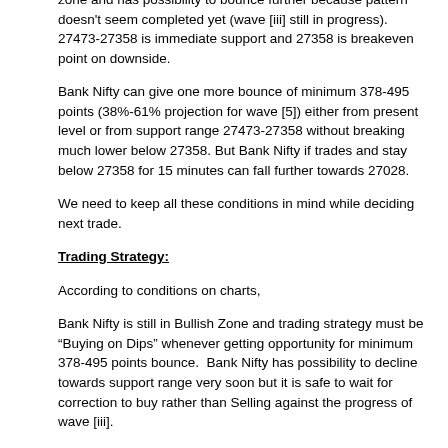zone and has possibility to bounce further because pattern doesn't seem completed yet (wave [iii] still in progress). 27473-27358 is immediate support and 27358 is breakeven point on downside.
Bank Nifty can give one more bounce of minimum 378-495 points (38%-61% projection for wave [5]) either from present level or from support range 27473-27358 without breaking much lower below 27358. But Bank Nifty if trades and stay below 27358 for 15 minutes can fall further towards 27028.
We need to keep all these conditions in mind while deciding next trade.
Trading Strategy:
According to conditions on charts,
Bank Nifty is still in Bullish Zone and trading strategy must be “Buying on Dips” whenever getting opportunity for minimum 378-495 points bounce.  Bank Nifty has possibility to decline towards support range very soon but it is safe to wait for correction to buy rather than Selling against the progress of wave [iii].
And safe and low risk trading strategy is to buy Bank Nifty 27400 call of 02 Aug expiry if get in 27400-27358 range using stoploss 27319 (some points below 27358) expecting minimum 378-495 bounce.
This is safe and low risk trade I can suggest in these conditions, otherwise